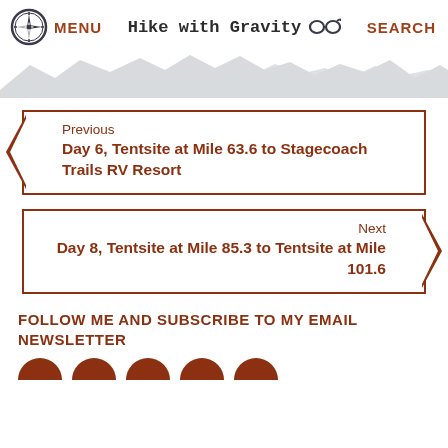MENU   Hike with Gravity   SEARCH
[Figure (illustration): Mountain silhouette divider graphic in grey tones]
Previous
Day 6, Tentsite at Mile 63.6 to Stagecoach Trails RV Resort
Next
Day 8, Tentsite at Mile 85.3 to Tentsite at Mile 101.6
FOLLOW ME AND SUBSCRIBE TO MY EMAIL NEWSLETTER